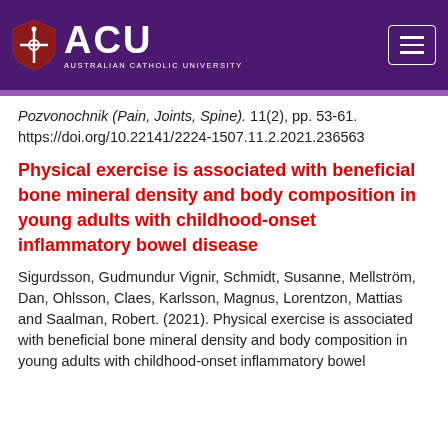[Figure (logo): ACU (Australian Catholic University) logo with purple background header and hamburger menu icon]
Pozvonochnik (Pain, Joints, Spine). 11(2), pp. 53-61. https://doi.org/10.22141/2224-1507.11.2.2021.236563
Physical exercise is associated with beneficial bone mineral density and body composition in young adults with childhood-onset inflammatory bowel disease
Sigurdsson, Gudmundur Vignir, Schmidt, Susanne, Mellström, Dan, Ohlsson, Claes, Karlsson, Magnus, Lorentzon, Mattias and Saalman, Robert. (2021). Physical exercise is associated with beneficial bone mineral density and body composition in young adults with childhood-onset inflammatory bowel